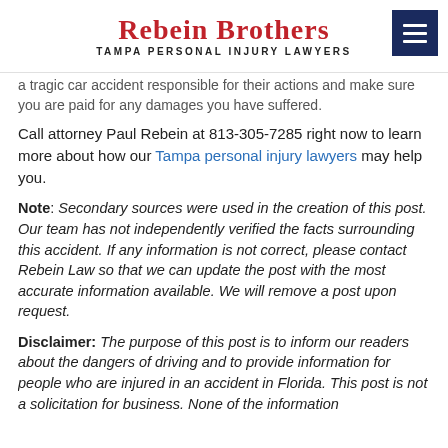REBEIN BROTHERS
TAMPA PERSONAL INJURY LAWYERS
a tragic car accident responsible for their actions and make sure you are paid for any damages you have suffered.
Call attorney Paul Rebein at 813-305-7285 right now to learn more about how our Tampa personal injury lawyers may help you.
Note: Secondary sources were used in the creation of this post. Our team has not independently verified the facts surrounding this accident. If any information is not correct, please contact Rebein Law so that we can update the post with the most accurate information available. We will remove a post upon request.
Disclaimer: The purpose of this post is to inform our readers about the dangers of driving and to provide information for people who are injured in an accident in Florida. This post is not a solicitation for business. None of the information